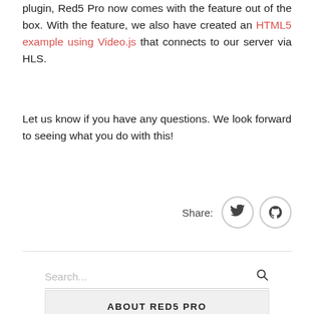plugin, Red5 Pro now comes with the feature out of the box. With the feature, we also have created an HTML5 example using Video.js that connects to our server via HLS.
Let us know if you have any questions. We look forward to seeing what you do with this!
Share:
[Figure (other): Twitter and GitHub share icon buttons]
Search...
ABOUT RED5 PRO